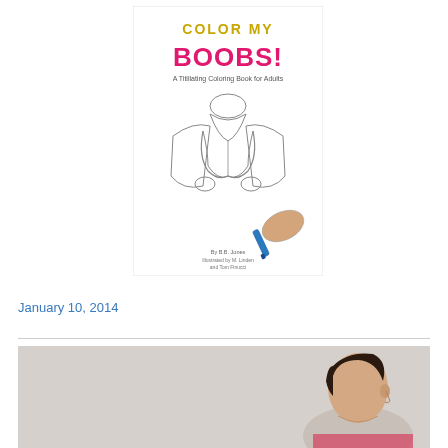[Figure (illustration): Book cover of 'Color My Boobs! A Titillating Coloring Book for Adults' showing a line-drawing illustration of a figure opening a shirt, with a hand holding a blue marker coloring the image. Title text in yellow and pink/magenta lettering at top.]
January 10, 2014
[Figure (photo): Partial photo of a person with short dark hair, cropped, on a light gray background.]